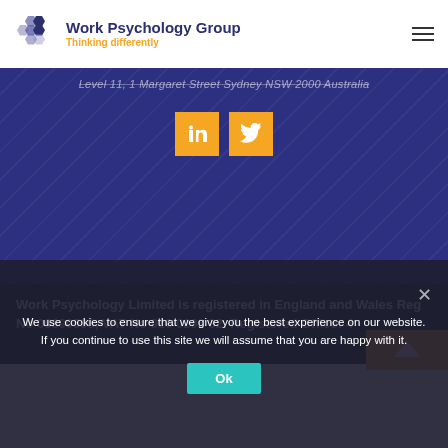[Figure (logo): Work Psychology Group hexagon logo with company name and tagline]
Level 11, 1 Margaret Street Sydney NSW 2000 Australia
[Figure (infographic): LinkedIn and Twitter social media icon buttons in orange]
Work Psychology Limited is registered in England and Wales Reg No 06390598, VAT No 916 0296 32. Registered Office: 4
We use cookies to ensure that we give you the best experience on our website. If you continue to use this site we will assume that you are happy with it.